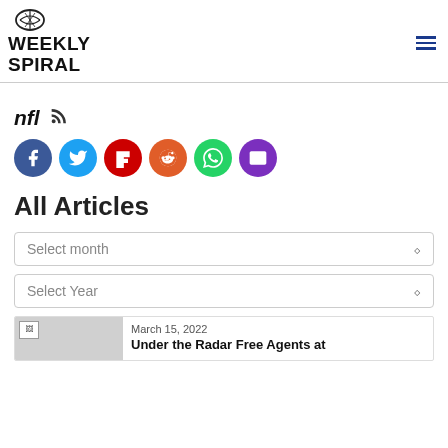WEEKLY SPIRAL
nfl
[Figure (infographic): Social sharing buttons: Facebook, Twitter, Flipboard, Reddit, WhatsApp, Email]
All Articles
Select month
Select Year
March 15, 2022
Under the Radar Free Agents at